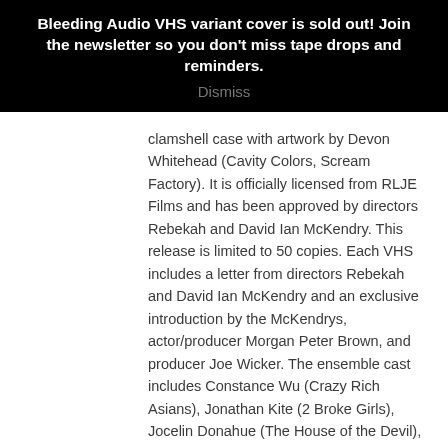Bleeding Audio VHS variant cover is sold out! Join the newsletter so you don't miss tape drops and reminders.
Dismiss
clamshell case with artwork by Devon Whitehead (Cavity Colors, Scream Factory). It is officially licensed from RLJE Films and has been approved by directors Rebekah and David Ian McKendry. This release is limited to 50 copies. Each VHS includes a letter from directors Rebekah and David Ian McKendry and an exclusive introduction by the McKendrys, actor/producer Morgan Peter Brown, and producer Joe Wicker. The ensemble cast includes Constance Wu (Crazy Rich Asians), Jonathan Kite (2 Broke Girls), Jocelin Donahue (The House of the Devil), Graham Skipper (Beyond the Gates), Amanda Fuller (Orange is the New Black), Chase Williamson (The Guest), Brea Grant (Dexter), Matt Mercer (Contracted), Maria Olsen (Starry Eyes), and Larry Zerner (Friday the 13th Part III).     The joyful spirit of the holidays is about to take one dark turn after another. From sadistic office parties and last-minute shopping nightmares, to vengeful stalkers and